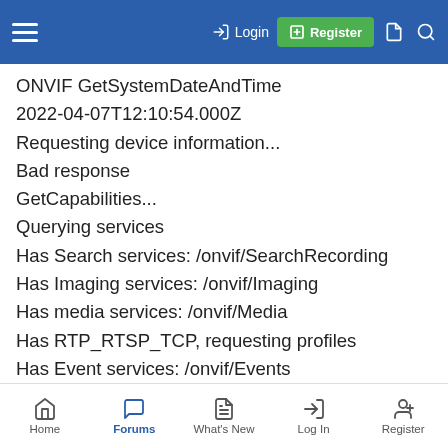Login | Register
ONVIF GetSystemDateAndTime
2022-04-07T12:10:54.000Z
Requesting device information...
Bad response
GetCapabilities...
Querying services
Has Search services: /onvif/SearchRecording
Has Imaging services: /onvif/Imaging
Has media services: /onvif/Media
Has RTP_RTSP_TCP, requesting profiles
Has Event services: /onvif/Events
Has WSPullPointSupport
RelayOutputs: 0
InputConnectors: 0
Home | Forums | What's New | Log In | Register